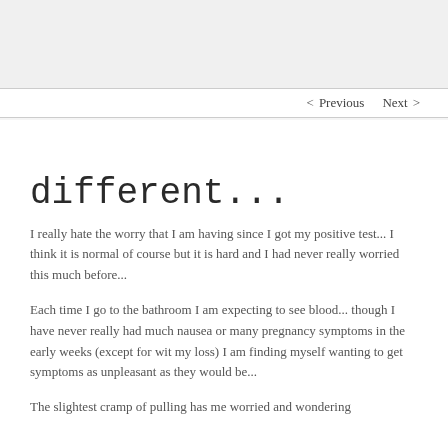< Previous   Next >
different...
I really hate the worry that I am having since I got my positive test... I think it is normal of course but it is hard and I had never really worried this much before...
Each time I go to the bathroom I am expecting to see blood... though I have never really had much nausea or many pregnancy symptoms in the early weeks (except for wit my loss)  I am finding myself wanting to get symptoms as unpleasant as they would be...
The slightest cramp of pulling has me worried and wondering